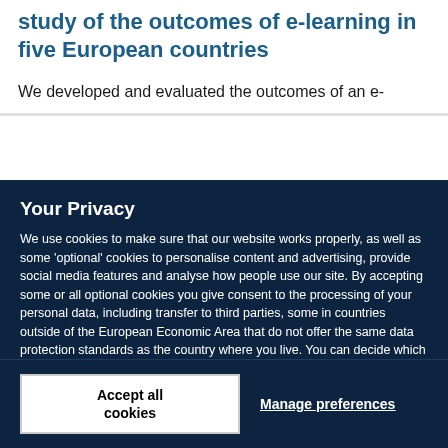study of the outcomes of e-learning in five European countries
We developed and evaluated the outcomes of an e-
Your Privacy
We use cookies to make sure that our website works properly, as well as some 'optional' cookies to personalise content and advertising, provide social media features and analyse how people use our site. By accepting some or all optional cookies you give consent to the processing of your personal data, including transfer to third parties, some in countries outside of the European Economic Area that do not offer the same data protection standards as the country where you live. You can decide which optional cookies to accept by clicking on 'Manage Settings', where you can also find more information about how your personal data is processed. Further information can be found in our privacy policy.
Accept all cookies
Manage preferences